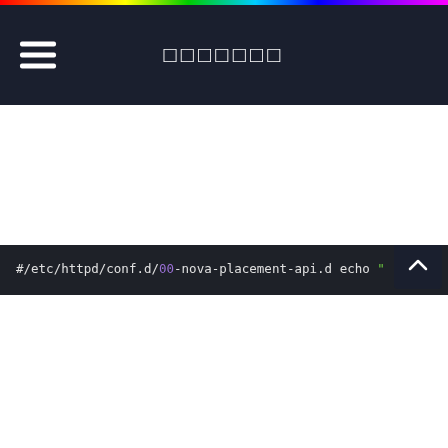□□□□□□□
[Figure (screenshot): Code block showing shell commands echoing lines into /etc/httpd/conf.d/00-nova-placement-api.d configuration file, with green string literals and purple numbers on dark background]